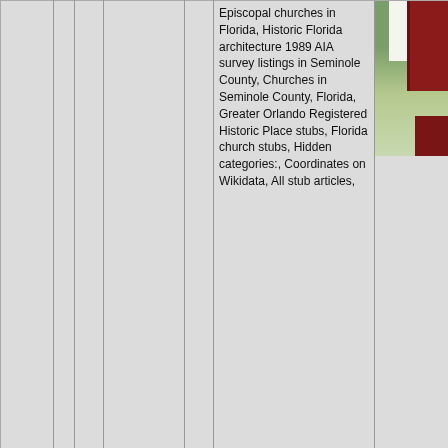| # |  |  | Name |  | Categories | Photo |
| --- | --- | --- | --- | --- | --- | --- |
|  |  |  |  |  | Episcopal churches in Florida, Historic Florida architecture 1989 AIA survey listings in Seminole County, Churches in Seminole County, Florida, Greater Orlando Registered Historic Place stubs, Florida church stubs, Hidden categories:, Coordinates on Wikidata, All stub articles, | [photo] |
| 93: 13.7mi |  |  | Osteen, Florida |  | Unincorporated commu- | [photo] |